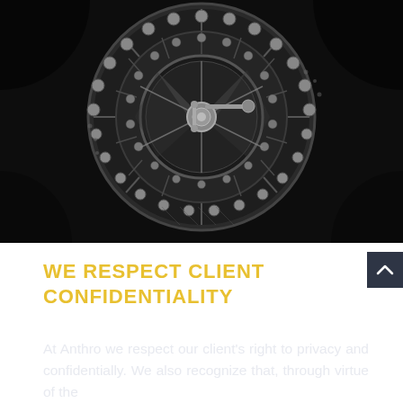[Figure (photo): Black and white close-up photograph of a large bank vault door mechanism, showing concentric metal rings with bolts, a central locking wheel and handle, and intricate mechanical components.]
WE RESPECT CLIENT CONFIDENTIALITY
At Anthro we respect our client's right to privacy and confidentially. We also recognize that, through virtue of the